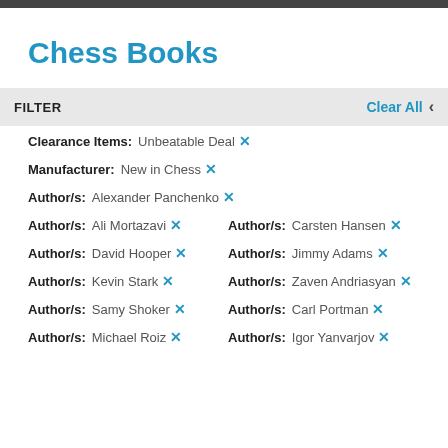Chess Books
FILTER   Clear All <
Clearance Items: Unbeatable Deal ×
Manufacturer: New in Chess ×
Author/s: Alexander Panchenko ×
Author/s: Ali Mortazavi ×   Author/s: Carsten Hansen ×
Author/s: David Hooper ×   Author/s: Jimmy Adams ×
Author/s: Kevin Stark ×   Author/s: Zaven Andriasyan ×
Author/s: Samy Shoker ×   Author/s: Carl Portman ×
Author/s: Michael Roiz ×   Author/s: Igor Yanvarjov ×